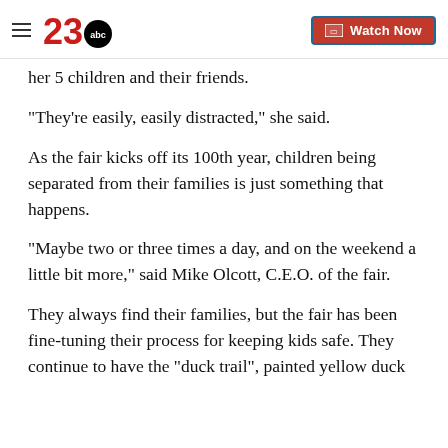23 ABC News — Watch Now
her 5 children and their friends.
"They're easily, easily distracted," she said.
As the fair kicks off its 100th year, children being separated from their families is just something that happens.
"Maybe two or three times a day, and on the weekend a little bit more," said Mike Olcott, C.E.O. of the fair.
They always find their families, but the fair has been fine-tuning their process for keeping kids safe. They continue to have the "duck trail", painted yellow duck...